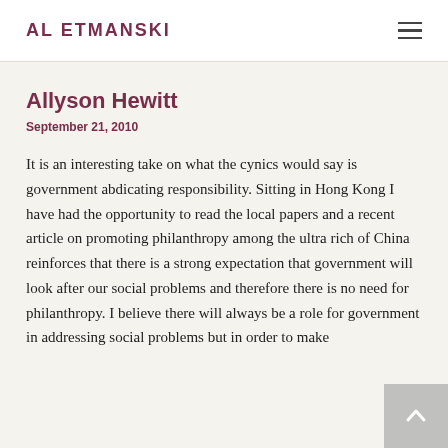AL ETMANSKI
Allyson Hewitt
September 21, 2010
It is an interesting take on what the cynics would say is government abdicating responsibility. Sitting in Hong Kong I have had the opportunity to read the local papers and a recent article on promoting philanthropy among the ultra rich of China reinforces that there is a strong expectation that government will look after our social problems and therefore there is no need for philanthropy. I believe there will always be a role for government in addressing social problems but in order to make